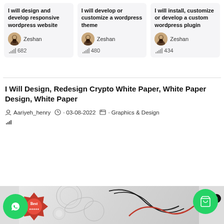I will design and develop responsive wordpress website
Zeshan
682
I will develop or customize a wordpress theme
Zeshan
480
I will install, customize or develop a custom wordpress plugin
Zeshan
434
I Will Design, Redesign Crypto White Paper, White Paper Design, White Paper
Aariyeh_henry · 03-08-2022 · Graphics & Design
[Figure (screenshot): Bottom image strip showing decorative design with Best badge, floral swirl pattern in black/red/white]